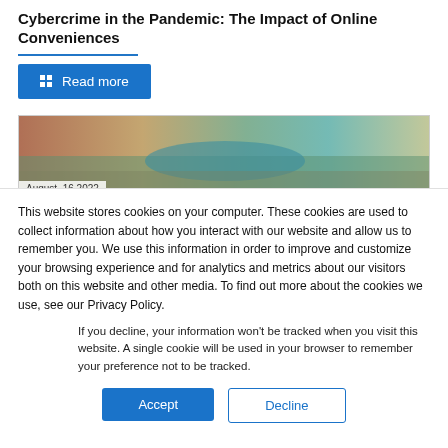Cybercrime in the Pandemic: The Impact of Online Conveniences
Read more
[Figure (photo): Aerial photo of a city with a river, partially visible behind the cookie banner]
August, 16 2022
This website stores cookies on your computer. These cookies are used to collect information about how you interact with our website and allow us to remember you. We use this information in order to improve and customize your browsing experience and for analytics and metrics about our visitors both on this website and other media. To find out more about the cookies we use, see our Privacy Policy.
If you decline, your information won't be tracked when you visit this website. A single cookie will be used in your browser to remember your preference not to be tracked.
Accept
Decline